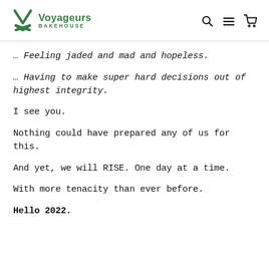Voyageurs BAKEHOUSE
… Feeling jaded and mad and hopeless.
… Having to make super hard decisions out of highest integrity.
I see you.
Nothing could have prepared any of us for this.
And yet, we will RISE. One day at a time.
With more tenacity than ever before.
Hello 2022.